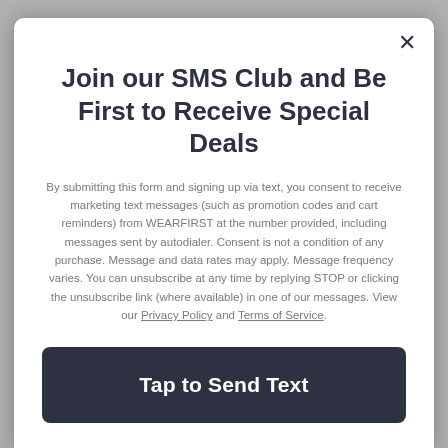Join our SMS Club and Be First to Receive Special Deals
By submitting this form and signing up via text, you consent to receive marketing text messages (such as promotion codes and cart reminders) from WEARFIRST at the number provided, including messages sent by autodialer. Consent is not a condition of any purchase. Message and data rates may apply. Message frequency varies. You can unsubscribe at any time by replying STOP or clicking the unsubscribe link (where available) in one of our messages. View our Privacy Policy and Terms of Service.
Tap to Send Text